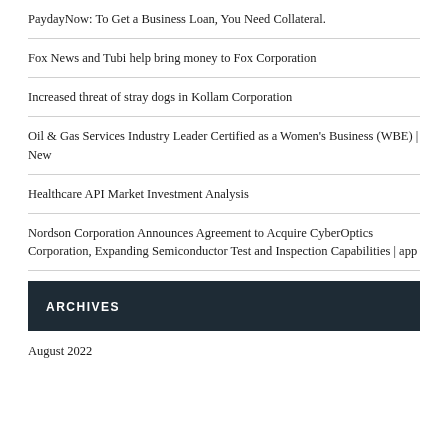PaydayNow: To Get a Business Loan, You Need Collateral.
Fox News and Tubi help bring money to Fox Corporation
Increased threat of stray dogs in Kollam Corporation
Oil & Gas Services Industry Leader Certified as a Women's Business (WBE) | New
Healthcare API Market Investment Analysis
Nordson Corporation Announces Agreement to Acquire CyberOptics Corporation, Expanding Semiconductor Test and Inspection Capabilities | app
ARCHIVES
August 2022